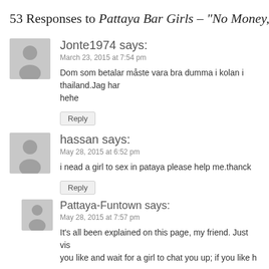53 Responses to Pattaya Bar Girls – "No Money, No Honey
Jonte1974 says:
March 23, 2015 at 7:54 pm
Dom som betalar måste vara bra dumma i kolan i thailand.Jag har
hehe
Reply
hassan says:
May 28, 2015 at 6:52 pm
i nead a girl to sex in pataya please help me.thanck
Reply
Pattaya-Funtown says:
May 28, 2015 at 7:57 pm
It's all been explained on this page, my friend. Just vis
you like and wait for a girl to chat you up; if you like h